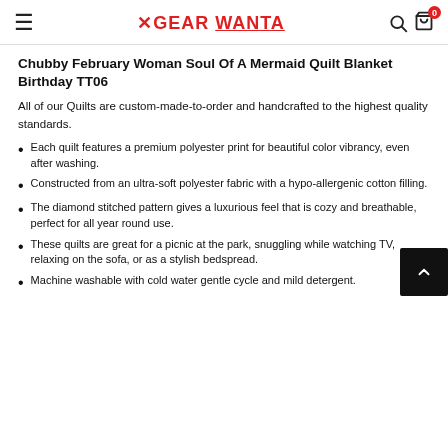≡  GEAR WANTA  🔍 🛍 0
Chubby February Woman Soul Of A Mermaid Quilt Blanket Birthday TT06
All of our Quilts are custom-made-to-order and handcrafted to the highest quality standards.
Each quilt features a premium polyester print for beautiful color vibrancy, even after washing.
Constructed from an ultra-soft polyester fabric with a hypo-allergenic cotton filling.
The diamond stitched pattern gives a luxurious feel that is cozy and breathable, perfect for all year round use.
These quilts are great for a picnic at the park, snuggling while watching TV, relaxing on the sofa, or as a stylish bedspread.
Machine washable with cold water gentle cycle and mild detergent.